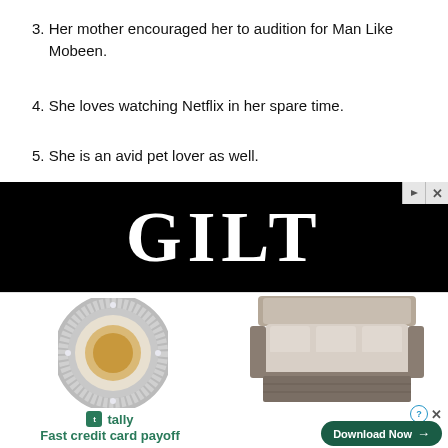3. Her mother encouraged her to audition for Man Like Mobeen.
4. She loves watching Netflix in her spare time.
5. She is an avid pet lover as well.
[Figure (photo): GILT advertisement banner with black background showing the GILT logo in large white serif text, product images of a diamond ring and an outdoor wicker daybed sofa, plus a Tally app promotion bar at the bottom with a Download Now button.]